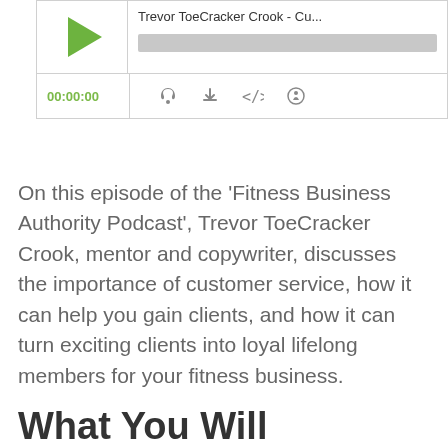[Figure (screenshot): Podcast player widget showing a play button on the left, episode title 'Trevor ToeCracker Crook - Cu...' on the right top, a grey progress bar, and a controls row with time display '00:00:00' in green and icons for RSS, download, embed, and share.]
On this episode of the ‘Fitness Business Authority Podcast’, Trevor ToeCracker Crook, mentor and copywriter, discusses the importance of customer service, how it can help you gain clients, and how it can turn exciting clients into loyal lifelong members for your fitness business.
What You Will